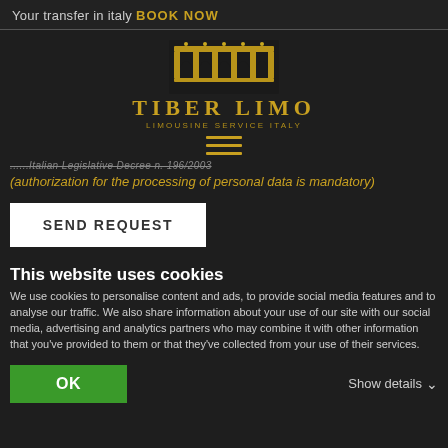Your transfer in italy BOOK NOW
[Figure (logo): Tiber Limo logo with stylized golden Roman bridge arch graphic above text reading TIBER LIMO - LIMOUSINE SERVICE ITALY]
[Figure (other): Hamburger menu icon with three gold horizontal lines]
Italian Legislative Decree n. 196/2003
(authorization for the processing of personal data is mandatory)
SEND REQUEST
This website uses cookies
We use cookies to personalise content and ads, to provide social media features and to analyse our traffic. We also share information about your use of our site with our social media, advertising and analytics partners who may combine it with other information that you've provided to them or that they've collected from your use of their services.
OK
Show details